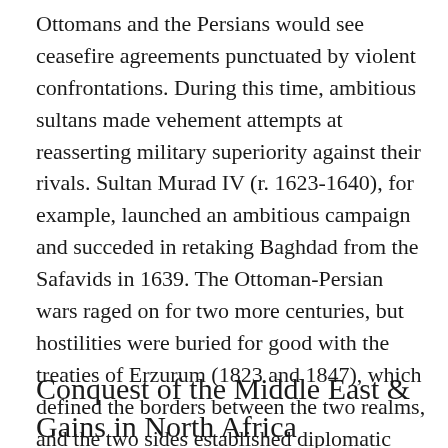Ottomans and the Persians would see ceasefire agreements punctuated by violent confrontations. During this time, ambitious sultans made vehement attempts at reasserting military superiority against their rivals. Sultan Murad IV (r. 1623-1640), for example, launched an ambitious campaign and succeded in retaking Baghdad from the Safavids in 1639. The Ottoman-Persian wars raged on for two more centuries, but hostilities were buried for good with the treaties of Erzurum (1823 and 1847), which defined the borders between the two realms, and the two sides established diplomatic ties, the positive effects of which are seen even today.
Conquest of the Middle East & Gains in North Africa